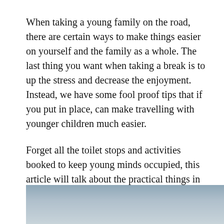When taking a young family on the road, there are certain ways to make things easier on yourself and the family as a whole. The last thing you want when taking a break is to up the stress and decrease the enjoyment. Instead, we have some fool proof tips that if you put in place, can make travelling with younger children much easier.
Forget all the toilet stops and activities booked to keep young minds occupied, this article will talk about the practical things in between.
[Figure (photo): Partial view of a grey-blue sky or landscape photo, cropped at the bottom of the page.]